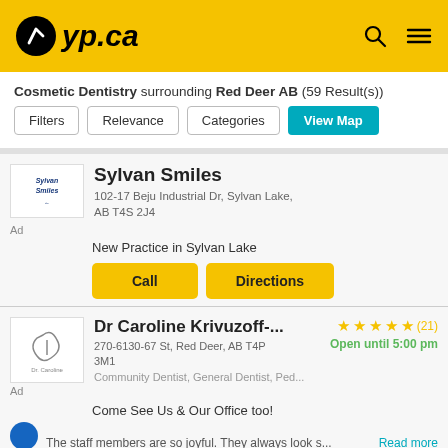yp.ca
Cosmetic Dentistry surrounding Red Deer AB (59 Result(s))
Filters | Relevance | Categories | View Map
Sylvan Smiles
102-17 Beju Industrial Dr, Sylvan Lake, AB T4S 2J4
Ad
New Practice in Sylvan Lake
Call | Directions
Dr Caroline Krivuzoff-...
270-6130-67 St, Red Deer, AB T4P 3M1
Community Dentist, General Dentist, Ped...
Ad
Come See Us & Our Office too!
The staff members are so joyful. They always look s... Read more